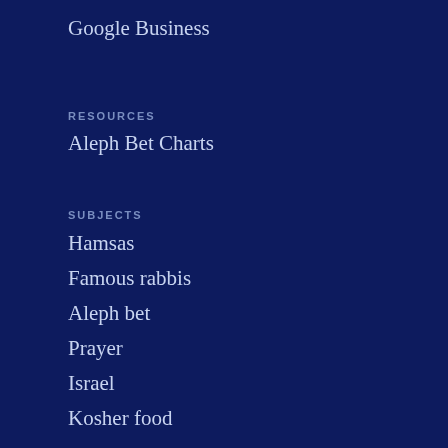Google Business
RESOURCES
Aleph Bet Charts
SUBJECTS
Hamsas
Famous rabbis
Aleph bet
Prayer
Israel
Kosher food
Torah
Children
BY FUNCTION
Tefillin bags
Tallit bags